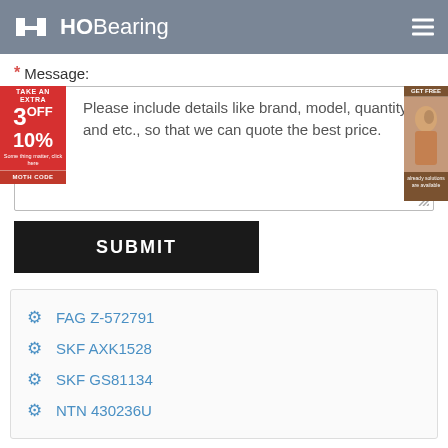HOBearing
* Message:
Please include details like brand, model, quantity and etc., so that we can quote the best price.
SUBMIT
FAG Z-572791
SKF AXK1528
SKF GS81134
NTN 430236U